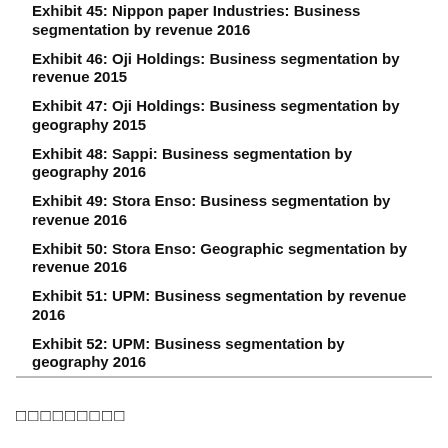Exhibit 45: Nippon paper Industries: Business segmentation by revenue 2016
Exhibit 46: Oji Holdings: Business segmentation by revenue 2015
Exhibit 47: Oji Holdings: Business segmentation by geography 2015
Exhibit 48: Sappi: Business segmentation by geography 2016
Exhibit 49: Stora Enso: Business segmentation by revenue 2016
Exhibit 50: Stora Enso: Geographic segmentation by revenue 2016
Exhibit 51: UPM: Business segmentation by revenue 2016
Exhibit 52: UPM: Business segmentation by geography 2016
□□□□□□□□□